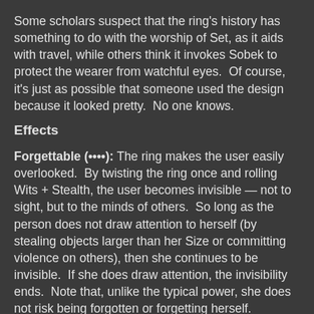Some scholars suspect that the ring's history has something to do with the worship of Set, as it aids with travel, while others think it invokes Sobek to protect the wearer from watchful eyes.  Of course, it's just as possible that someone used the design because it looked pretty.  No one knows.
Effects
Forgettable (••••): The ring makes the user easily overlooked.  By twisting the ring once and rolling Wits + Stealth, the user becomes invisible — not to sight, but to the minds of others.  So long as the person does not draw attention to herself (by stealing objects larger than her Size or committing violence on others), then she continues to be invisible.  If she does draw attention, the invisibility ends.  Note that, unlike the typical power, she does not risk being forgotten or forgetting herself.
Unnatural Travel (••••): By using the ring's exposed edge to etch a mark into a substance, the user can make that mark into a portal.  The user can create two such marks and travel